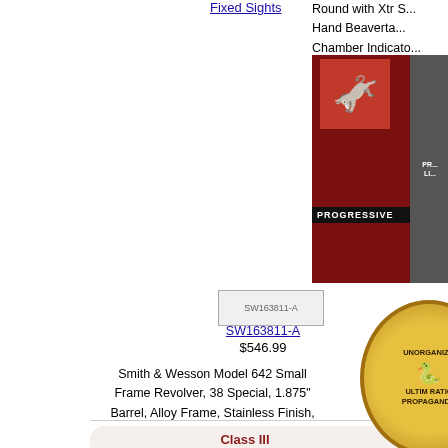Fixed Sights
Round with Xtr S...
Hand Beaverta...
Chamber Indicato...
Combat Rear Sig...
Front Sight, Plasti...
Lock
[Figure (screenshot): Progressive political advertisement with donkey logo on dark red background]
[Figure (screenshot): Product image placeholder SW163811-A]
SW163811-A
$546.99
Smith & Wesson Model 642 Small Frame Revolver, 38 Special, 1.875" Barrel, Alloy Frame, Stainless Finish, Laser Grip, Fixed Sights, 5 Round Capacity, Crimson Trace Laser
[Figure (screenshot): Product image placeholder SW10138]
SW101...
$430.9...
Smith & Wesson M... Double Action Only... Special, 1.9" Barre... Black Finish, 5 Ro... Crimson Trace Laser... Approved
[Figure (illustration): Unorganized propaganda circular patch with snake/eagle emblem, yellow background]
[Figure (screenshot): Iowa political advertisement - Give Your... Iowa]
[Figure (screenshot): Constitution document image - A well r...]
[Figure (screenshot): Class III FFL advertisement box - I want to buy your machine guns. Transfers in Texas for Law Enforcement and cur Fed...]